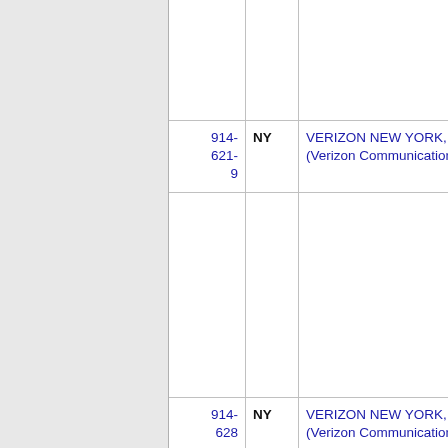| NXX | State | Company |  |
| --- | --- | --- | --- |
|  |  |  |  |
| 914-
621-
9 | NY | VERIZON NEW YORK, INC. (Verizon Communications) | 9 |
| 914-
628 | NY | VERIZON NEW YORK, INC. (Verizon Communications) | 9 |